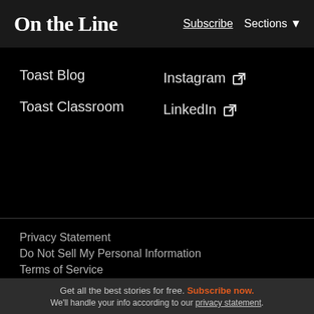On the Line   Subscribe   Sections ▼
Toast Blog
Toast Classroom
Instagram [external link]
LinkedIn [external link]
Privacy Statement
Do Not Sell My Personal Information
Terms of Service
Merchant Agreement
Get all the best stories for free. Subscribe now. We'll handle your info according to our privacy statement.